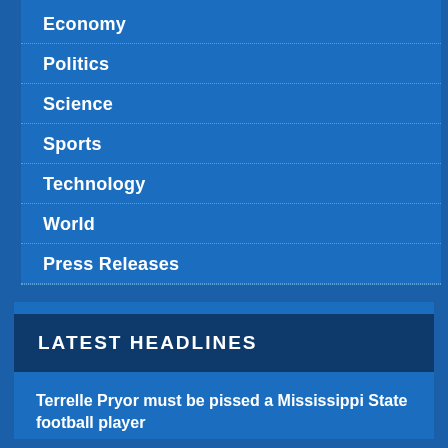Economy
Politics
Science
Sports
Technology
World
Press Releases
LATEST HEADLINES
Terrelle Pryor must be pissed a Mississippi State football player